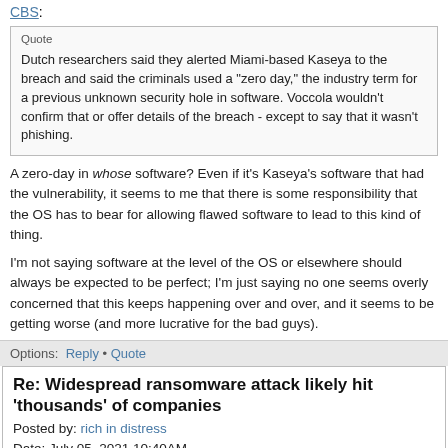CBS:
Quote
Dutch researchers said they alerted Miami-based Kaseya to the breach and said the criminals used a "zero day," the industry term for a previous unknown security hole in software. Voccola wouldn't confirm that or offer details of the breach - except to say that it wasn't phishing.
A zero-day in whose software? Even if it's Kaseya's software that had the vulnerability, it seems to me that there is some responsibility that the OS has to bear for allowing flawed software to lead to this kind of thing.
I'm not saying software at the level of the OS or elsewhere should always be expected to be perfect; I'm just saying no one seems overly concerned that this keeps happening over and over, and it seems to be getting worse (and more lucrative for the bad guys).
Options: Reply • Quote
Re: Widespread ransomware attack likely hit 'thousands' of companies
Posted by: rich in distress
Date: July 05, 2021 10:40AM
Almost all of these stories begin with someone downloading something they shouldn't have.
I say one can't be candid about software anymore, free or otherwise.
I just read Audacity has been found to be malware, and no one thinks twice about using it.